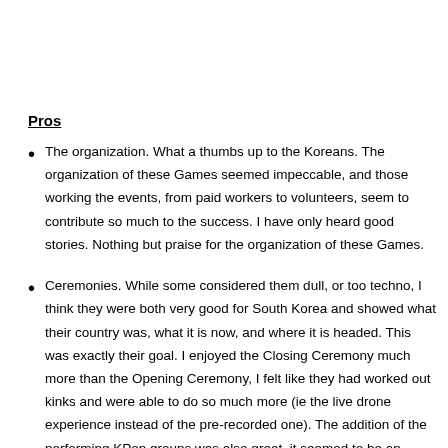Pros
The organization. What a thumbs up to the Koreans. The organization of these Games seemed impeccable, and those working the events, from paid workers to volunteers, seem to contribute so much to the success. I have only heard good stories. Nothing but praise for the organization of these Games.
Ceremonies. While some considered them dull, or too techno, I think they were both very good for South Korea and showed what their country was, what it is now, and where it is headed. This was exactly their goal. I enjoyed the Closing Ceremony much more than the Opening Ceremony, I felt like they had worked out kinks and were able to do so much more (ie the live drone experience instead of the pre-recorded one). The addition of the performing KPop groups was also great, it seemed to be an amazing representation